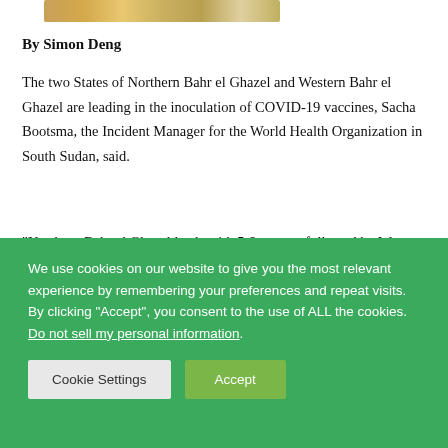[Figure (photo): Partial photo strip showing a medicine bottle or jar with a label, cropped at top of page]
By Simon Deng
The two States of Northern Bahr el Ghazel and Western Bahr el Ghazel are leading in the inoculation of COVID-19 vaccines, Sacha Bootsma, the Incident Manager for the World Health Organization in South Sudan, said.
“Northern Bahr el Ghazel leads with 5.6 percent followed by Western Bahr el Ghazel with 4.1 percent, that is a thing to do with effective implementing partners working proactively with county health directors,” Bootsma told reporters in Juba on Sunday.
We use cookies on our website to give you the most relevant experience by remembering your preferences and repeat visits. By clicking “Accept”, you consent to the use of ALL the cookies. Do not sell my personal information.
Cookie Settings
Accept